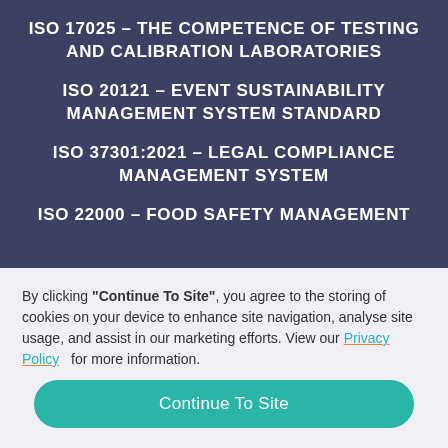ISO 17025 – THE COMPETENCE OF TESTING AND CALIBRATION LABORATORIES
ISO 20121 – EVENT SUSTAINABILITY MANAGEMENT SYSTEM STANDARD
ISO 37301:2021 – LEGAL COMPLIANCE MANAGEMENT SYSTEM
ISO 22000 – FOOD SAFETY MANAGEMENT SYSTEM STANDARD
By clicking "Continue To Site", you agree to the storing of cookies on your device to enhance site navigation, analyse site usage, and assist in our marketing efforts. View our Privacy Policy for more information.
Continue To Site